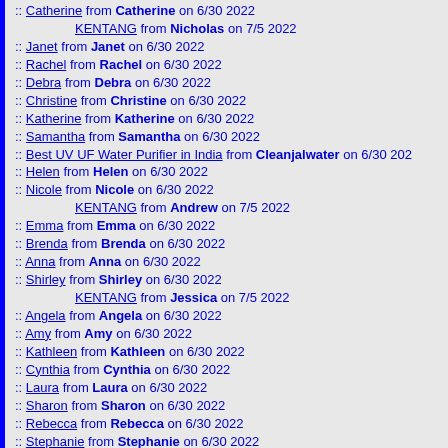:: Catherine from Catherine on 6/30 2022
KENTANG from Nicholas on 7/5 2022
:: Janet from Janet on 6/30 2022
:: Rachel from Rachel on 6/30 2022
:: Debra from Debra on 6/30 2022
:: Christine from Christine on 6/30 2022
:: Katherine from Katherine on 6/30 2022
:: Samantha from Samantha on 6/30 2022
:: Best UV UF Water Purifier in India from Cleanjalwater on 6/30 202
:: Helen from Helen on 6/30 2022
:: Nicole from Nicole on 6/30 2022
KENTANG from Andrew on 7/5 2022
:: Emma from Emma on 6/30 2022
:: Brenda from Brenda on 6/30 2022
:: Anna from Anna on 6/30 2022
:: Shirley from Shirley on 6/30 2022
KENTANG from Jessica on 7/5 2022
:: Angela from Angela on 6/30 2022
:: Amy from Amy on 6/30 2022
:: Kathleen from Kathleen on 6/30 2022
:: Cynthia from Cynthia on 6/30 2022
:: Laura from Laura on 6/30 2022
:: Sharon from Sharon on 6/30 2022
:: Rebecca from Rebecca on 6/30 2022
:: Stephanie from Stephanie on 6/30 2022
:: Deborah from Deborah on 6/30 2022
:: Melissa from Melissa on 6/30 2022
:: Dorothy from Dorothy on 6/30 2022
:: Amanda from Amanda on 6/30 2022
KENTANG from Nicole on 7/16 2022